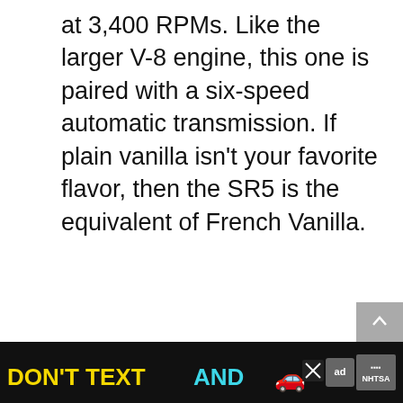at 3,400 RPMs. Like the larger V-8 engine, this one is paired with a six-speed automatic transmission. If plain vanilla isn't your favorite flavor, then the SR5 is the equivalent of French Vanilla.
[Figure (screenshot): Operation Gratitude advertisement banner: logo on left with red swoosh and star, text 'SAY THANK YOU TO DEPLOYED TROOPS' in bold, patriotic/cartoon imagery on right, X close button in top right corner.]
[Figure (screenshot): Red circular heart/like button icon on right side of page]
1
[Figure (screenshot): Share button (circle with share icon) on right side of page]
WHAT'S NEXT → How To Know If Your Start...
[Figure (screenshot): NHTSA 'DON'T TEXT AND DRIVE' bottom banner ad in black background with yellow and cyan text, red car emoji, ad icon, NHTSA logo, X close button, and settings icon]